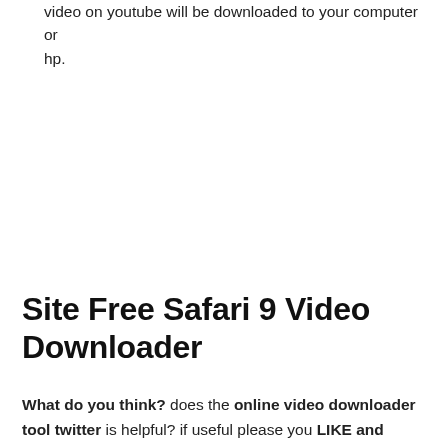video on youtube will be downloaded to your computer or hp.
Site Free Safari 9 Video Downloader
What do you think? does the online video downloader tool twitter is helpful? if useful please you LIKE and SHARE